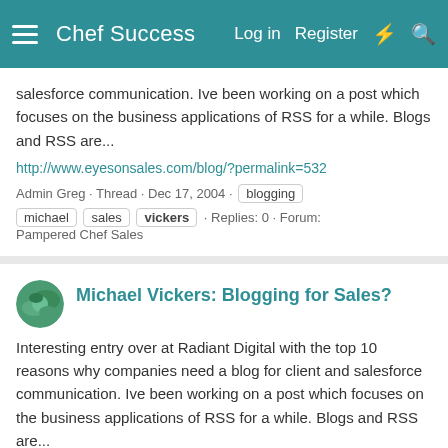Chef Success   Log in   Register
salesforce communication. Ive been working on a post which focuses on the business applications of RSS for a while. Blogs and RSS are...
http://www.eyesonsales.com/blog/?permalink=532
Admin Greg · Thread · Dec 17, 2004 · blogging michael sales vickers · Replies: 0 · Forum: Pampered Chef Sales
Michael Vickers: Blogging for Sales?
Interesting entry over at Radiant Digital with the top 10 reasons why companies need a blog for client and salesforce communication. Ive been working on a post which focuses on the business applications of RSS for a while. Blogs and RSS are...
http://www.eyesonsales.com/blog/?permalink=532
Admin Greg · Thread · Nov 27, 2004 · blogging